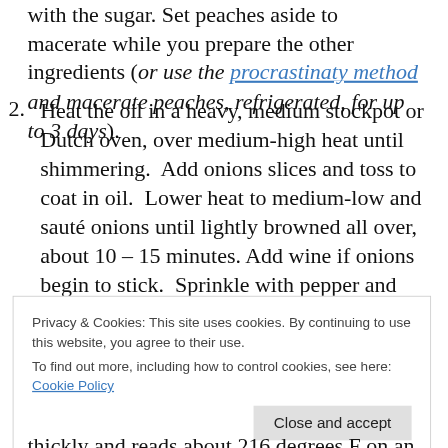with the sugar. Set peaches aside to macerate while you prepare the other ingredients (or use the procrastinaty method and macerate peaches, refrigerated, for up to 3 days).
2. Heat the oil in a heavy, medium stockpot or Dutch oven, over medium-high heat until shimmering.  Add onions slices and toss to coat in oil.  Lower heat to medium-low and sauté onions until lightly browned all over, about 10 – 15 minutes. Add wine if onions begin to stick.  Sprinkle with pepper and add remaining wine to deglaze the pan; scrape up any browned bits from
Privacy & Cookies: This site uses cookies. By continuing to use this website, you agree to their use.
To find out more, including how to control cookies, see here: Cookie Policy
thickly and reads about 216 degrees F on an instant